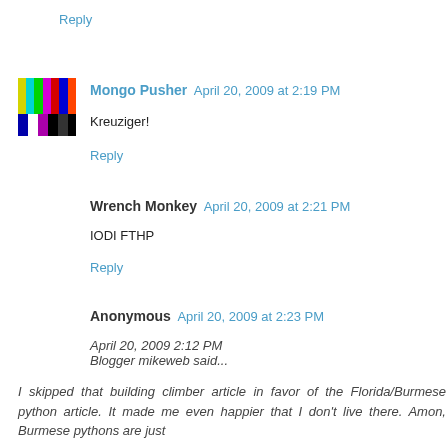Reply
[Figure (photo): TV test pattern avatar image with colored bars (green, magenta, cyan, red, blue, yellow) and black/white strips at bottom]
Mongo Pusher  April 20, 2009 at 2:19 PM
Kreuziger!
Reply
Wrench Monkey  April 20, 2009 at 2:21 PM
IODI FTHP
Reply
Anonymous  April 20, 2009 at 2:23 PM
April 20, 2009 2:12 PM
Blogger mikeweb said...
I skipped that building climber article in favor of the Florida/Burmese python article. It made me even happier that I don't live there. Amon, Burmese pythons are just